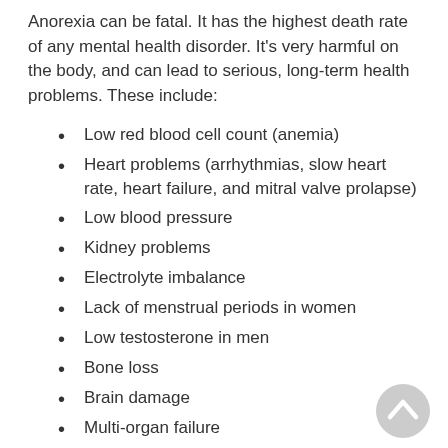Anorexia can be fatal. It has the highest death rate of any mental health disorder. It's very harmful on the body, and can lead to serious, long-term health problems. These include:
Low red blood cell count (anemia)
Heart problems (arrhythmias, slow heart rate, heart failure, and mitral valve prolapse)
Low blood pressure
Kidney problems
Electrolyte imbalance
Lack of menstrual periods in women
Low testosterone in men
Bone loss
Brain damage
Multi-organ failure
Death